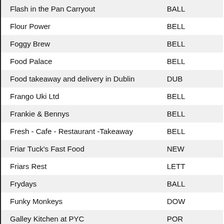| Name | Location |
| --- | --- |
| Flash in the Pan Carryout | BALL |
| Flour Power | BELL |
| Foggy Brew | BELL |
| Food Palace | BELL |
| Food takeaway and delivery in Dublin | DUB |
| Frango Uki Ltd | BELL |
| Frankie & Bennys | BELL |
| Fresh - Cafe - Restaurant -Takeaway | BELL |
| Friar Tuck's Fast Food | NEW |
| Friars Rest | LETT |
| Frydays | BALL |
| Funky Monkeys | DOW |
| Galley Kitchen at PYC | POR |
| Gallopers | BELL |
| Gastronomy Cafe-Bistro | HOL |
| Georges Cafe | LIMA |
| Gibbons Takeaway | DER |
| Gibsons Butchery & Delicatiessen | BELL |